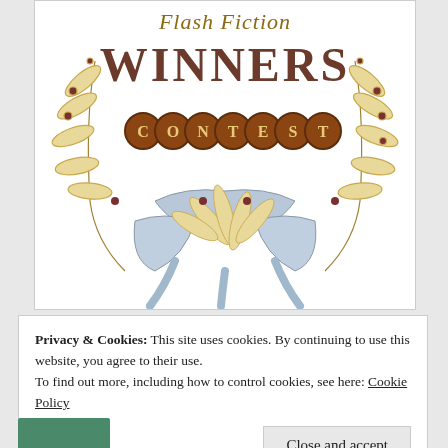[Figure (illustration): Flash Fiction Winners Contest illustration: decorative laurel wreath with olive branches, berries, and a blue ribbon/bow at the bottom. Text 'WINNERS' in large brown serif letters at the top, 'CONTEST' spelled out in brown circular coin-like medallions, and 'Flash Fiction' in cursive script above WINNERS.]
Privacy & Cookies: This site uses cookies. By continuing to use this website, you agree to their use.
To find out more, including how to control cookies, see here: Cookie Policy
Close and accept